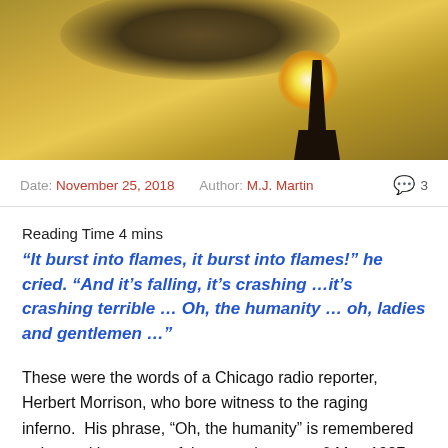[Figure (photo): Historical sepia-toned photo of what appears to be the Hindenburg disaster — a large airship burning above a mooring tower, with yellow-orange flames visible.]
Date: November 25, 2018   Author: M.J. Martin   💬 3
Reading Time 4 mins
“It burst into flames, it burst into flames!” he cried. “And it’s falling, it’s crashing …it’s crashing terrible … Oh, the humanity … oh, ladies and gentlemen …”
These were the words of a Chicago radio reporter, Herbert Morrison, who bore witness to the raging inferno.  His phrase, “Oh, the humanity” is remembered today and is as powerful now as it was on 6 May 1937,